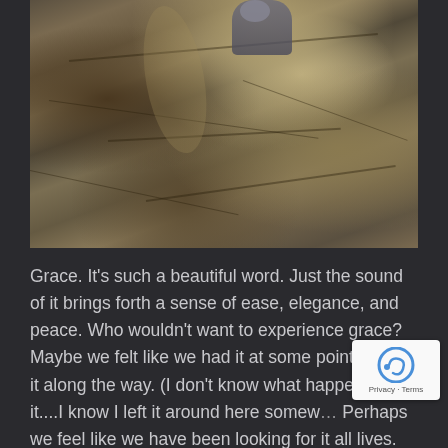[Figure (photo): A person climbing or sitting on rocky coastal cliffs. The rocks are rugged, dark grey and brown with varied textures, cracks, and patches of lichen. The person is partially visible at the top wearing grey/blue clothing.]
Grace. It's such a beautiful word. Just the sound of it brings forth a sense of ease, elegance, and peace. Who wouldn't want to experience grace? Maybe we felt like we had it at some point but lost it along the way. (I don't know what happened to it....I know I left it around here somew… Perhaps we feel like we have been looking for it all lives. It's possible that we don't even know what we're